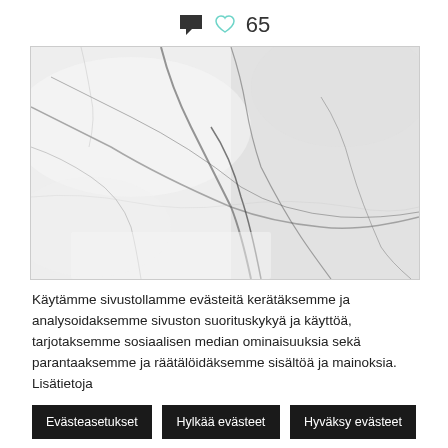[Figure (other): Chat bubble icon and heart icon with number 65]
[Figure (photo): Close-up photograph of white marble surface with grey veins and cracks]
Käytämme sivustollamme evästeitä kerätäksemme ja analysoidaksemme sivuston suorituskykyä ja käyttöä, tarjotaksemme sosiaalisen median ominaisuuksia sekä parantaaksemme ja räätälöidäksemme sisältöä ja mainoksia. Lisätietoja
Evästeasetukset   Hylkää evästeet   Hyväksy evästeet